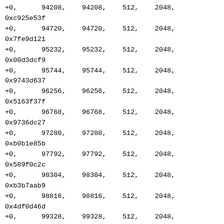+0,      94208,    94208,    512,    2048,
0xc925e53f
+0,      94720,    94720,    512,    2048,
0x7fe9d121
+0,      95232,    95232,    512,    2048,
0x00d3dcf9
+0,      95744,    95744,    512,    2048,
0x9743d637
+0,      96256,    96256,    512,    2048,
0x5163f37f
+0,      96768,    96768,    512,    2048,
0x9736dc27
+0,      97280,    97280,    512,    2048,
0xb0b1e85b
+0,      97792,    97792,    512,    2048,
0x589f0c2c
+0,      98304,    98304,    512,    2048,
0xb3b7aab9
+0,      98816,    98816,    512,    2048,
0x4df0d46d
+0,      99328,    99328,    512,    2048,
0xb917d4db
+0,      99840,    99840,    512,    2048,
0x6efdfe65
+0,     100352,   100352,    512,    2048,
0x426bd85d
+0,     100864,   100864,    512,    2048,
0x824313f6
+0,     101376,   101376,    512,    2048,
0xe755cf47